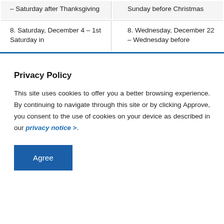| – Saturday after Thanksgiving | Sunday before Christmas |
| 8. Saturday, December 4 – 1st Saturday in | 8. Wednesday, December 22 – Wednesday before |
Privacy Policy
This site uses cookies to offer you a better browsing experience. By continuing to navigate through this site or by clicking Approve, you consent to the use of cookies on your device as described in our privacy notice >.